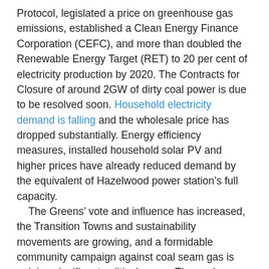Protocol, legislated a price on greenhouse gas emissions, established a Clean Energy Finance Corporation (CEFC), and more than doubled the Renewable Energy Target (RET) to 20 per cent of electricity production by 2020. The Contracts for Closure of around 2GW of dirty coal power is due to be resolved soon. Household electricity demand is falling and the wholesale price has dropped substantially. Energy efficiency measures, installed household solar PV and higher prices have already reduced demand by the equivalent of Hazelwood power station's full capacity.
    The Greens’ vote and influence has increased, the Transition Towns and sustainability movements are growing, and a formidable community campaign against coal seam gas is gaining significant political power. The coal industry in Queensland is a hot topic. The cost of renewable energy, especially PV solar, is falling quickly and household rooftop solar is already grid competitive. Community support for replacing dirty fossil fuels with clean, renewable energy is strong.

    Yet there is “exhaustion” amongst many people and organisations working for strong action on climate, and a